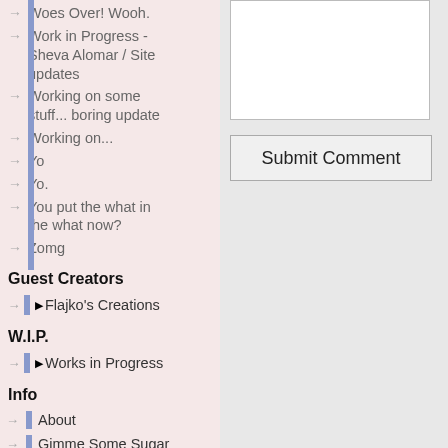Woes Over! Wooh.
Work in Progress - Sheva Alomar / Site updates
Working on some stuff... boring update
Working on...
Yo
Yo.
You put the what in the what now?
Zomg
Guest Creators
▶Flajko's Creations
W.I.P.
▶Works in Progress
Info
About
Gimme Some Sugar
My Favourite Sites
Suggestions
Terms of Use
[Figure (screenshot): Text input area (textarea) and Submit Comment button on right panel]